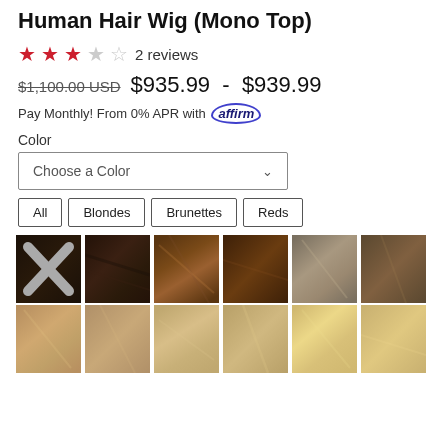Human Hair Wig (Mono Top)
★★★☆☆ 2 reviews
$1,100.00 USD $935.99 - $939.99
Pay Monthly! From 0% APR with affirm
Color
Choose a Color
All
Blondes
Brunettes
Reds
[Figure (photo): Grid of 12 hair color swatches showing various shades from dark brown/black to blonde, with an X overlay on the first swatch indicating out of stock or unselected]